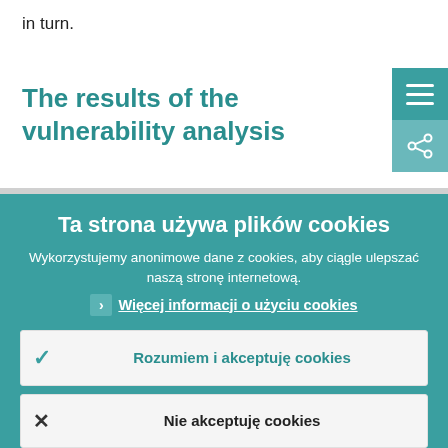in turn.
The results of the vulnerability analysis
Ta strona używa plików cookies
Wykorzystujemy anonimowe dane z cookies, aby ciągle ulepszać naszą stronę internetową.
Więcej informacji o użyciu cookies
Rozumiem i akceptuję cookies
Nie akceptuję cookies